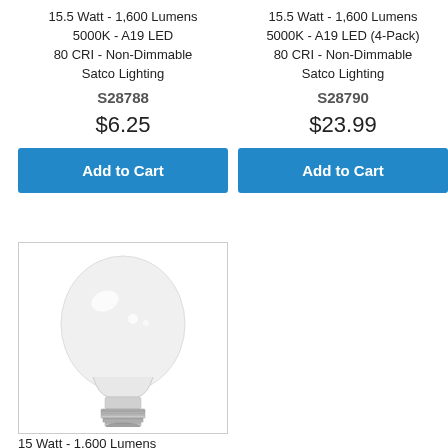15.5 Watt - 1,600 Lumens
5000K - A19 LED
80 CRI - Non-Dimmable
Satco Lighting
S28788
$6.25
Add to Cart
15.5 Watt - 1,600 Lumens
5000K - A19 LED (4-Pack)
80 CRI - Non-Dimmable
Satco Lighting
S28790
$23.99
Add to Cart
[Figure (photo): White A19 LED light bulb with medium E26 base]
15 Watt - 1,600 Lumens